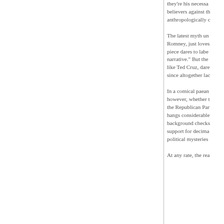they're his necessary foils, setting believers against the anthropologically curious
The latest myth un Romney, just loves piece dares to label narrative." But the like Ted Cruz, dare since altogether lac
In a comical paean however, whether t the Republican Par hangs considerable background checks support for decima political mysteries
At any rate, the rea